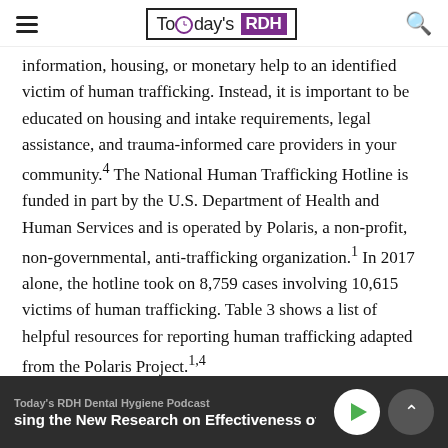Today's RDH
information, housing, or monetary help to an identified victim of human trafficking. Instead, it is important to be educated on housing and intake requirements, legal assistance, and trauma-informed care providers in your community.4 The National Human Trafficking Hotline is funded in part by the U.S. Department of Health and Human Services and is operated by Polaris, a non-profit, non-governmental, anti-trafficking organization.1 In 2017 alone, the hotline took on 8,759 cases involving 10,615 victims of human trafficking. Table 3 shows a list of helpful resources for reporting human trafficking adapted from the Polaris Project.1,4
[Figure (photo): Partial view of a person's face/head, cropped at bottom of content area]
Today's RDH Dental Hygiene Podcast — sing the New Research on Effectiveness of LI!